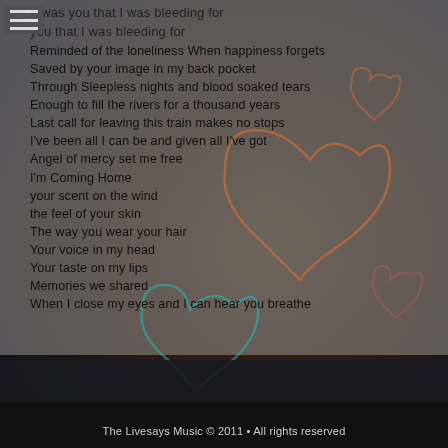It was you that I was bleeding for
you that I was bleeding for
Reminded of the loneliness When happiness forgets
Saved by your image in my back pocket
Through Sleepless nights and blood soaked tears
Enough to fill the rivers for a thousand years
Last call for leaving this train makes no stops
I've been all I can be and given all I've got
Angel of mercy set me free
I'm Coming Home
your scent on the wind
the feel of your skin
The way you wear your hair
Your voice in my head
Your taste on my lips
Memories we shared
When I close my eyes and I can hear you breathe
The Livesays Music © 2011 • All rights reserved